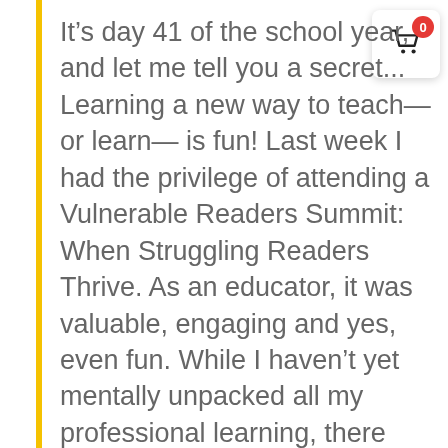It’s day 41 of the school year, and let me tell you a secret... Learning a new way to teach—or learn— is fun! Last week I had the privilege of attending a Vulnerable Readers Summit: When Struggling Readers Thrive. As an educator, it was valuable, engaging and yes, even fun. While I haven’t yet mentally unpacked all my professional learning, there was some great material I could take back and
[Figure (other): Shopping cart icon with red badge showing 0, in a white rounded-corner box]